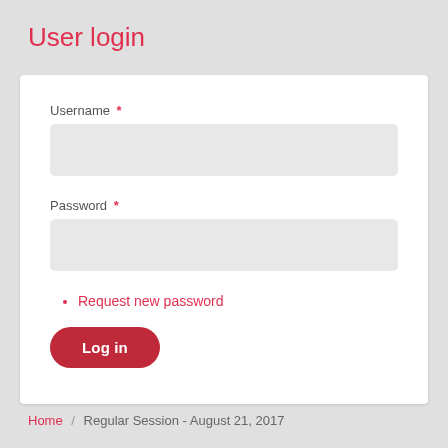User login
Username *
Password *
Request new password
Log in
Home / Regular Session - August 21, 2017